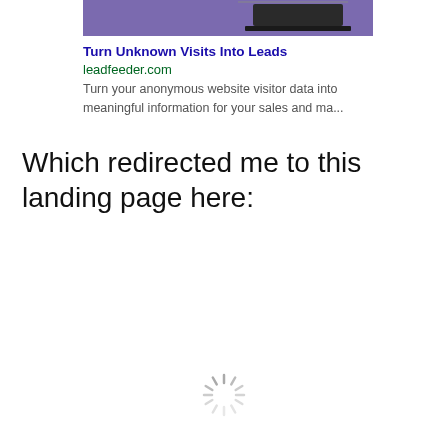[Figure (screenshot): Partial screenshot of a display advertisement with purple background showing a laptop, from leadfeeder.com]
Turn Unknown Visits Into Leads
leadfeeder.com
Turn your anonymous website visitor data into meaningful information for your sales and ma...
Which redirected me to this landing page here:
[Figure (illustration): Loading spinner / activity indicator]